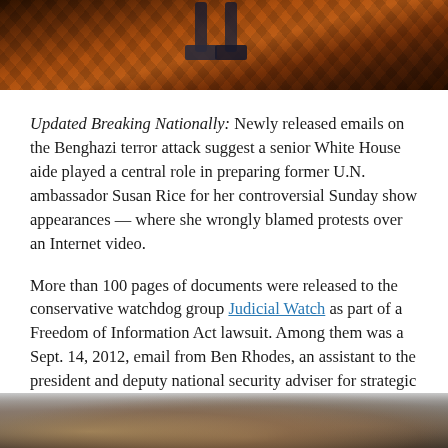[Figure (photo): Top portion of a photo showing a person's legs/feet walking on a brick/cobblestone surface with warm orange-red tones]
Updated Breaking Nationally: Newly released emails on the Benghazi terror attack suggest a senior White House aide played a central role in preparing former U.N. ambassador Susan Rice for her controversial Sunday show appearances — where she wrongly blamed protests over an Internet video.
More than 100 pages of documents were released to the conservative watchdog group Judicial Watch as part of a Freedom of Information Act lawsuit. Among them was a Sept. 14, 2012, email from Ben Rhodes, an assistant to the president and deputy national security adviser for strategic communications.
[Figure (photo): Bottom portion of a photo showing people, partially visible at the bottom of the page]